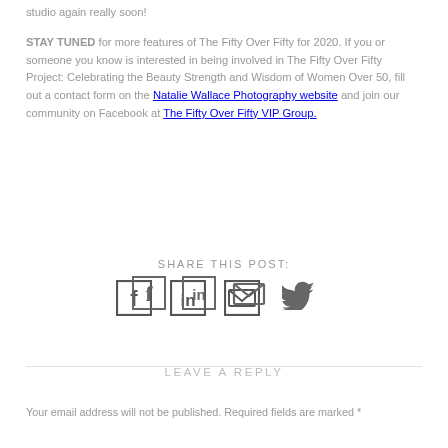studio again really soon!
STAY TUNED for more features of The Fifty Over Fifty for 2020. If you or someone you know is interested in being involved in The Fifty Over Fifty Project: Celebrating the Beauty Strength and Wisdom of Women Over 50, fill out a contact form on the Natalie Wallace Photography website and join our community on Facebook at The Fifty Over Fifty VIP Group.
SHARE THIS POST:
[Figure (infographic): Four social media share icons: Facebook (f), LinkedIn (in), Email (envelope), Twitter (bird)]
LEAVE A REPLY
Your email address will not be published. Required fields are marked *